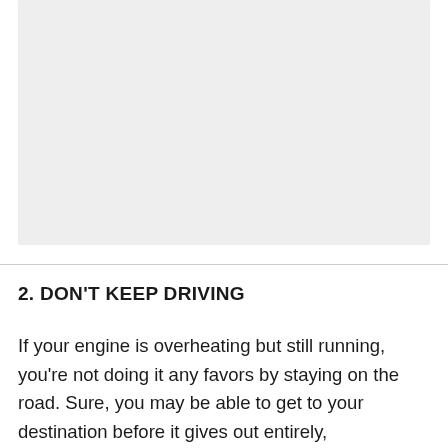[Figure (photo): Gray placeholder image area at top of page]
2. DON'T KEEP DRIVING
If your engine is overheating but still running, you're not doing it any favors by staying on the road. Sure, you may be able to get to your destination before it gives out entirely, but you may cause significant (and costly)